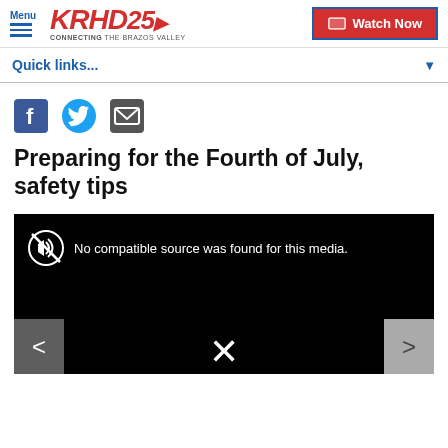KRHD 25 — CONNECTING THE BRAZOS VALLEY | Watch Now
Quick links...
[Figure (other): Social sharing icons: Facebook, Twitter, Email]
Preparing for the Fourth of July, safety tips
[Figure (screenshot): Video player showing 'No compatible source was found for this media.' with navigation arrows and close button]